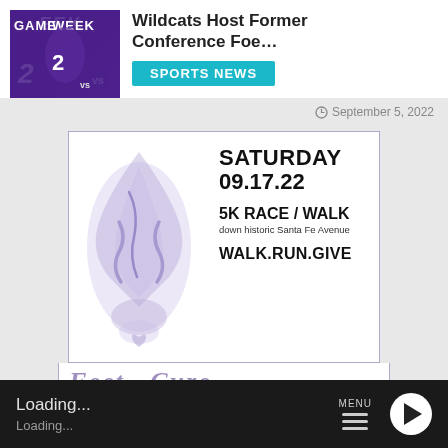[Figure (photo): Sports photo showing a football player in purple uniform with number 2, 'GAME WEEK' text overlay, purple/dark background]
Wildcats Host Former Conference Foe…
SPORTS NEWS
September 5, 2022
[Figure (infographic): Event advertisement for a 5K Race/Walk on Saturday 09.17.22 down historic Santa Fe Avenue. WALK.RUN.GIVE. Features a purple floral/ribbon design on the left side. Bottom shows partial cursive text 'Feet for Cure' in lavender.]
Loading...
Loading...